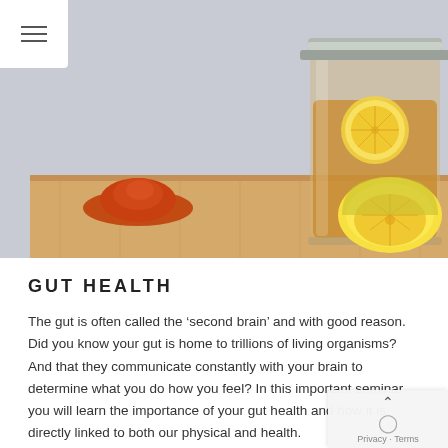[Figure (photo): A mason jar filled with amber/yellow liquid (kombucha or lemon drink) with a metal lid, lemon slices inside, a halved lemon to the right, and a mound of red/orange spice powder to the left, all sitting on a wooden board against a light gray background.]
GUT HEALTH
The gut is often called the ‘second brain’ and with good reason. Did you know your gut is home to trillions of living organisms? And that they communicate constantly with your brain to determine what you do how you feel? In this important seminar you will learn the importance of your gut health and how it is directly linked to both our physical and health.